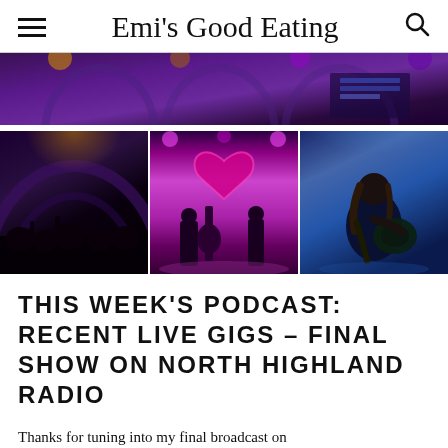Emi's Good Eating
[Figure (photo): Concert/live music photo collage: top wide photo showing a stage with purple/blue lighting and venue interior; bottom row of three photos showing (left) a dark concert crowd scene, (center) a band performing under pink/magenta stage lights with a heart-shaped decoration, (right) a guitarist performing under blue stage lighting]
THIS WEEK'S PODCAST: RECENT LIVE GIGS – FINAL SHOW ON NORTH HIGHLAND RADIO
Thanks for tuning into my final broadcast on